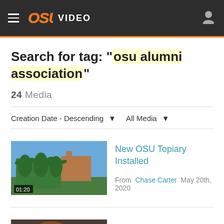OSU VIDEO
Search for tag: "osu alumni association"
24 Media
Creation Date - Descending  All Media
[Figure (photo): Thumbnail of topiary sculptures on OSU campus, 01:20 duration]
New OSU Topiary Installed
From Chase Carter May 20th, 2020
[Figure (photo): Thumbnail of a woman, #COWBOYFAMILY: Blaire Atkinson video]
#COWBOYFAMILY: Blaire Atkinson